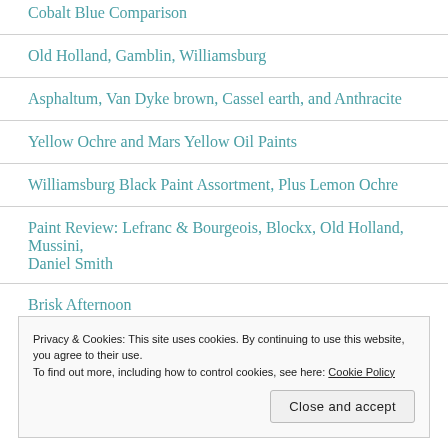Cobalt Blue Comparison
Old Holland, Gamblin, Williamsburg
Asphaltum, Van Dyke brown, Cassel earth, and Anthracite
Yellow Ochre and Mars Yellow Oil Paints
Williamsburg Black Paint Assortment, Plus Lemon Ochre
Paint Review: Lefranc & Bourgeois, Blockx, Old Holland, Mussini, Daniel Smith
Brisk Afternoon
Privacy & Cookies: This site uses cookies. By continuing to use this website, you agree to their use. To find out more, including how to control cookies, see here: Cookie Policy
Close and accept